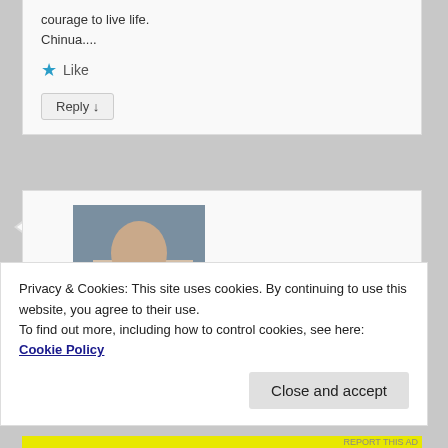courage to live life.
Chinua....
Like
Reply ↓
[Figure (photo): Avatar photo of Kish Pascall Jerome]
Kish Pascall Jerome on January 13, 2018 at 8:13 PM said:
Privacy & Cookies: This site uses cookies. By continuing to use this website, you agree to their use.
To find out more, including how to control cookies, see here: Cookie Policy
Close and accept